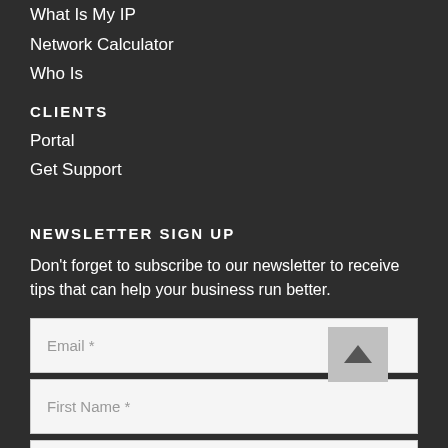What Is My IP
Network Calculator
Who Is
CLIENTS
Portal
Get Support
NEWSLETTER SIGN UP
Don't forget to subscribe to our newsletter to receive tips that can help your business run better.
Email *
First Name *
Last Name *